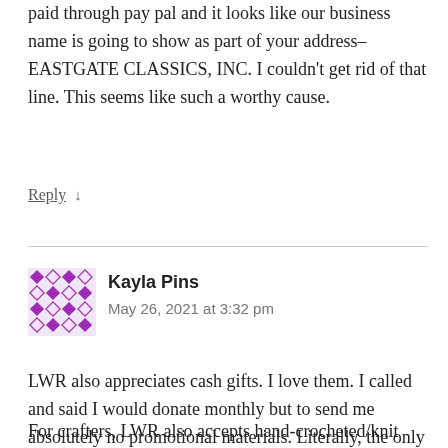paid through pay pal and it looks like our business name is going to show as part of your address–EASTGATE CLASSICS, INC. I couldn't get rid of that line. This seems like such a worthy cause.
Reply ↓
Kayla Pins
May 26, 2021 at 3:32 pm
LWR also appreciates cash gifts. I love them. I called and said I would donate monthly but to send me absolutely no promotional materials. Literally, the only mail I get from them is my annual statement!

For crafters, LWR also accepts hand-crocheted/knit blankets,